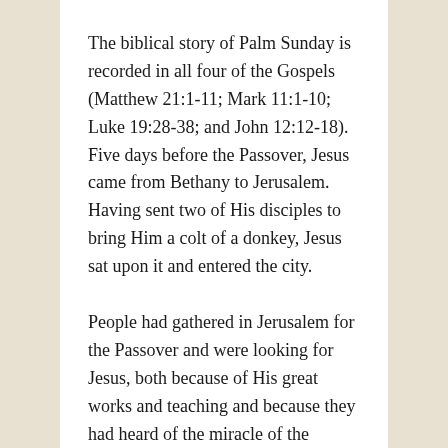The biblical story of Palm Sunday is recorded in all four of the Gospels (Matthew 21:1-11; Mark 11:1-10; Luke 19:28-38; and John 12:12-18). Five days before the Passover, Jesus came from Bethany to Jerusalem. Having sent two of His disciples to bring Him a colt of a donkey, Jesus sat upon it and entered the city.
People had gathered in Jerusalem for the Passover and were looking for Jesus, both because of His great works and teaching and because they had heard of the miracle of the resurrection of Lazarus. When they heard that Christ was entering the city, they went out to meet Him with palm...